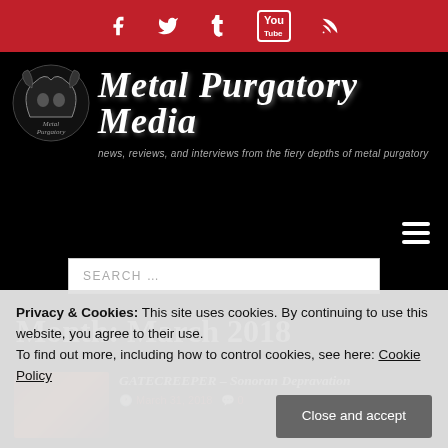[Social bar: Facebook, Twitter, Tumblr, YouTube, RSS icons]
[Figure (logo): Metal Purgatory Media logo with emblem and site title]
Metal Purgatory Media
news, reviews, and interviews from the fiery depths of metal purgatory
Month: March 2018
[Figure (photo): Thumbnail image for Gatecreeper article, abstract reddish-orange texture]
GATECREEPER – Sonoran Depravation
March 31, 2018  0
Privacy & Cookies: This site uses cookies. By continuing to use this website, you agree to their use.
To find out more, including how to control cookies, see here: Cookie Policy
Close and accept